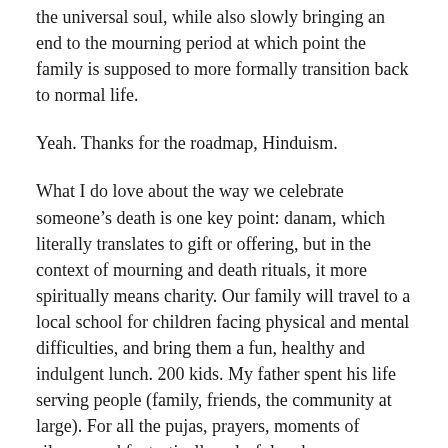the universal soul, while also slowly bringing an end to the mourning period at which point the family is supposed to more formally transition back to normal life.
Yeah. Thanks for the roadmap, Hinduism.
What I do love about the way we celebrate someone's death is one key point: danam, which literally translates to gift or offering, but in the context of mourning and death rituals, it more spiritually means charity. Our family will travel to a local school for children facing physical and mental difficulties, and bring them a fun, healthy and indulgent lunch. 200 kids. My father spent his life serving people (family, friends, the community at large). For all the pujas, prayers, moments of silence, and fantastically colorful and sense overwhelming